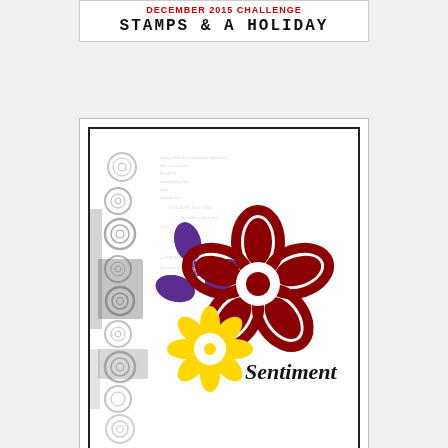DECEMBER 2015 CHALLENGE
STAMPS & A HOLIDAY
[Figure (illustration): A greeting card with stamped background featuring circular stamp patterns on the left side and newspaper/text collage in the upper middle. Three large flower stamps: a dark red/crimson large flower outline, a purple flower, and a yellow/gold daisy. The word 'Sentiment' is written in cursive script on the lower right of the card.]